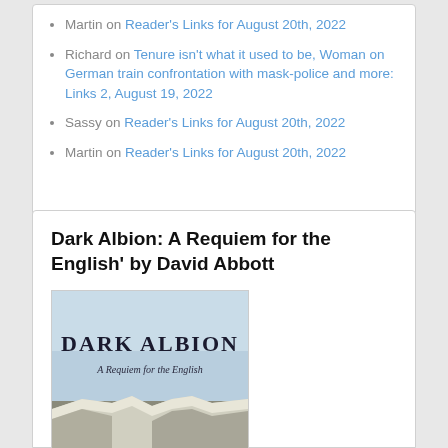Martin on Reader's Links for August 20th, 2022
Richard on Tenure isn't what it used to be, Woman on German train confrontation with mask-police and more: Links 2, August 19, 2022
Sassy on Reader's Links for August 20th, 2022
Martin on Reader's Links for August 20th, 2022
Dark Albion: A Requiem for the English' by David Abbott
[Figure (photo): Book cover of 'Dark Albion: A Requiem for the English' showing white chalk cliffs (likely White Cliffs of Dover) under a pale blue sky, with the title 'DARK ALBION' in large serif font and subtitle 'A Requiem for the English' below it.]